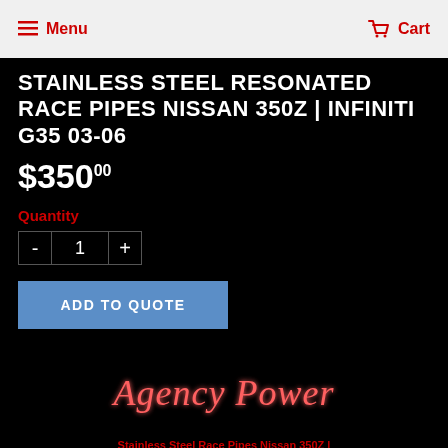Menu  Cart
STAINLESS STEEL RESONATED RACE PIPES NISSAN 350Z | INFINITI G35 03-06
$350.00
Quantity
- 1 +
ADD TO QUOTE
[Figure (logo): Agency Power cursive script logo in red/pink neon glow effect on black background]
Stainless Steel Race Pipes Nissan 350Z |